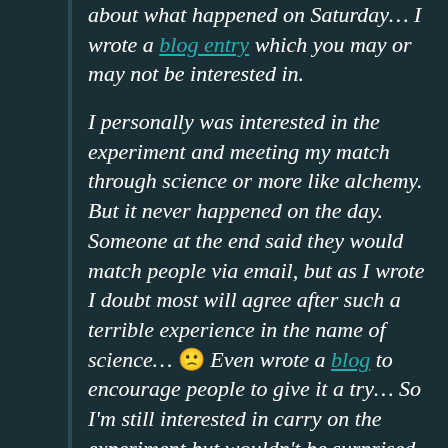about what happened on Saturday… I wrote a blog entry which you may or may not be interested in.

I personally was interested in the experiment and meeting my match through science or more like alchemy. But it never happened on the day. Someone at the end said they would match people via email, but as I wrote I doubt most will agree after such a terrible experience in the name of science… 🙁 Even wrote a blog to encourage people to give it a try… So I'm still interested in carry on the experiment but wouldn't be surprised